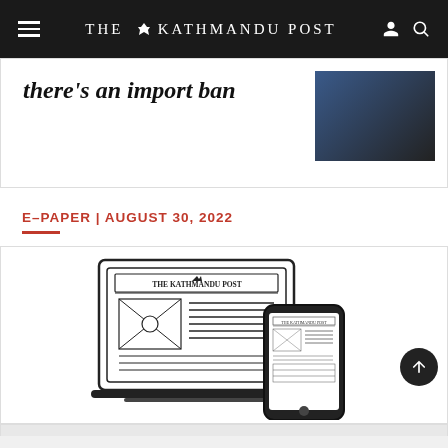THE KATHMANDU POST
there's an import ban
E-PAPER | AUGUST 30, 2022
[Figure (illustration): Illustration of The Kathmandu Post newspaper shown on a laptop and a mobile phone, representing the ePaper service.]
Read ePaper Online